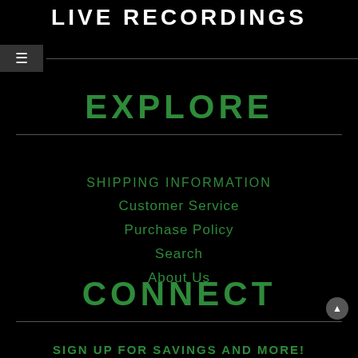LIVE RECORDINGS
EXPLORE
SHIPPING INFORMATION
Customer Service
Purchase Policy
Search
About Us
CONNECT
SIGN UP FOR SAVINGS AND MORE!